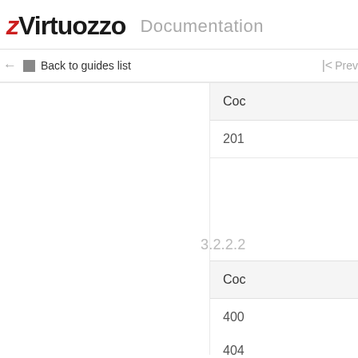Virtuozzo Documentation
← Back to guides list
| < Prev
Coc
201
3.2.2.2
Coc
400
404